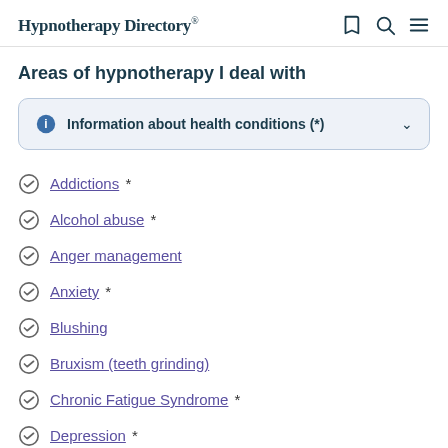Hypnotherapy Directory
Areas of hypnotherapy I deal with
Information about health conditions (*)
Addictions *
Alcohol abuse *
Anger management
Anxiety *
Blushing
Bruxism (teeth grinding)
Chronic Fatigue Syndrome *
Depression *